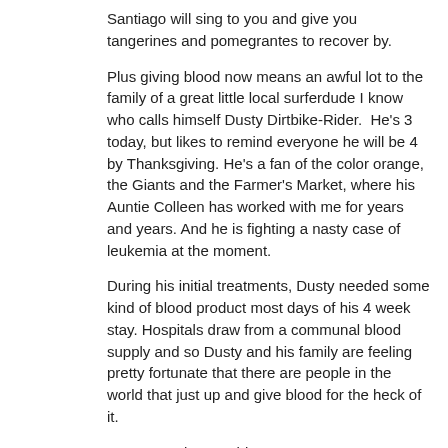Santiago will sing to you and give you tangerines and pomegrantes to recover by.
Plus giving blood now means an awful lot to the family of a great little local surferdude I know who calls himself Dusty Dirtbike-Rider.  He's 3 today, but likes to remind everyone he will be 4 by Thanksgiving. He's a fan of the color orange, the Giants and the Farmer's Market, where his Auntie Colleen has worked with me for years and years. And he is fighting a nasty case of leukemia at the moment.
During his initial treatments, Dusty needed some kind of blood product most days of his 4 week stay. Hospitals draw from a communal blood supply and so Dusty and his family are feeling pretty fortunate that there are people in the world that just up and give blood for the heck of it.
Dusty's Dad wrote this - - -
I am writing this note because I want people to take notice the next time there is a blood drive nearby.  Personally, I have always taken them for